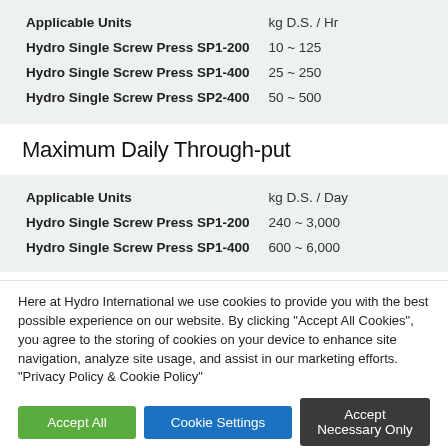| Applicable Units | kg D.S. / Hr |
| --- | --- |
| Hydro Single Screw Press SP1-200 | 10 ~ 125 |
| Hydro Single Screw Press SP1-400 | 25 ~ 250 |
| Hydro Single Screw Press SP2-400 | 50 ~ 500 |
Maximum Daily Through-put
| Applicable Units | kg D.S. / Day |
| --- | --- |
| Hydro Single Screw Press SP1-200 | 240 ~ 3,000 |
| Hydro Single Screw Press SP1-400 | 600 ~ 6,000 |
Here at Hydro International we use cookies to provide you with the best possible experience on our website. By clicking "Accept All Cookies", you agree to the storing of cookies on your device to enhance site navigation, analyze site usage, and assist in our marketing efforts. "Privacy Policy & Cookie Policy"